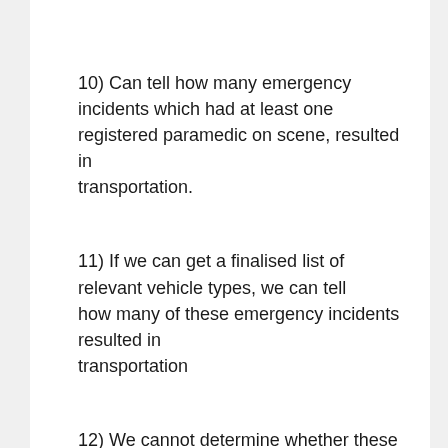10) Can tell how many emergency incidents which had at least one registered paramedic on scene, resulted in transportation.
11) If we can get a finalised list of relevant vehicle types, we can tell how many of these emergency incidents resulted in transportation
12) We cannot determine whether these crews had a paramedic on the phone advising, with the data we have available.